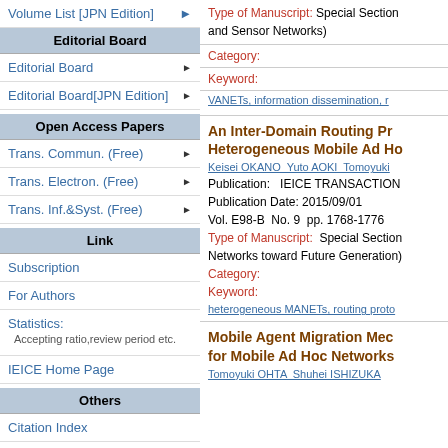Volume List [JPN Edition]
Editorial Board
Editorial Board
Editorial Board[JPN Edition]
Open Access Papers
Trans. Commun. (Free)
Trans. Electron. (Free)
Trans. Inf.&Syst. (Free)
Link
Subscription
For Authors
Statistics: Accepting ratio,review period etc.
IEICE Home Page
Others
Citation Index
Type of Manuscript: Special Section and Sensor Networks)
Category:
Keyword:
VANETs, information dissemination, r
An Inter-Domain Routing Pr Heterogeneous Mobile Ad Ho
Keisei OKANO Yuto AOKI Tomoyuki
Publication: IEICE TRANSACTION Publication Date: 2015/09/01 Vol. E98-B No. 9 pp. 1768-1776 Type of Manuscript: Special Section Networks toward Future Generation)
Category:
Keyword:
heterogeneous MANETs, routing proto
Mobile Agent Migration Mec for Mobile Ad Hoc Networks
Tomoyuki OHTA Shuhei ISHIZUKA